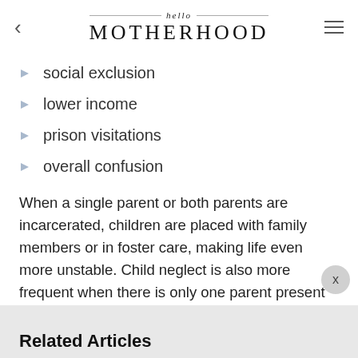hello MOTHERHOOD
social exclusion
lower income
prison visitations
overall confusion
When a single parent or both parents are incarcerated, children are placed with family members or in foster care, making life even more unstable. Child neglect is also more frequent when there is only one parent present in the home. This contributes to emotional and psychological issues in children throughout adolescence and into adulthood.
Related Articles